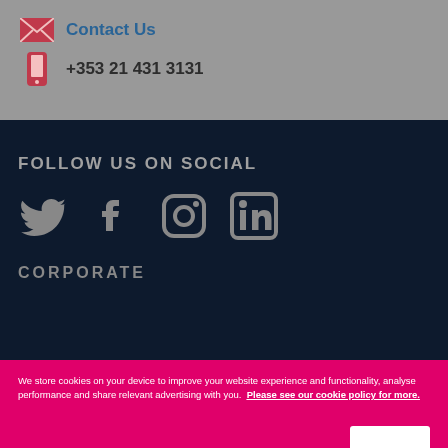Contact Us
+353 21 431 3131
FOLLOW US ON SOCIAL
[Figure (illustration): Social media icons: Twitter, Facebook, Instagram, LinkedIn]
CORPORATE
We store cookies on your device to improve your website experience and functionality, analyse performance and share relevant advertising with you. Please see our cookie policy for more.